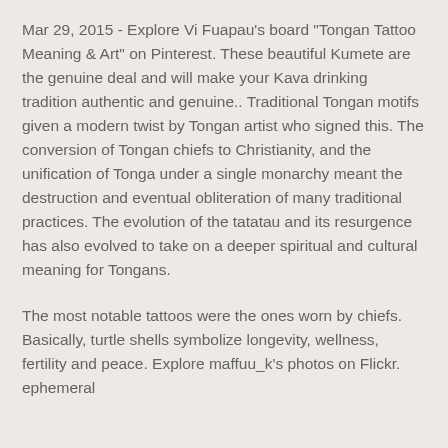Mar 29, 2015 - Explore Vi Fuapau's board "Tongan Tattoo Meaning & Art" on Pinterest. These beautiful Kumete are the genuine deal and will make your Kava drinking tradition authentic and genuine.. Traditional Tongan motifs given a modern twist by Tongan artist who signed this. The conversion of Tongan chiefs to Christianity, and the unification of Tonga under a single monarchy meant the destruction and eventual obliteration of many traditional practices. The evolution of the tatatau and its resurgence has also evolved to take on a deeper spiritual and cultural meaning for Tongans.
The most notable tattoos were the ones worn by chiefs. Basically, turtle shells symbolize longevity, wellness, fertility and peace. Explore maffuu_k's photos on Flickr. ephemeral